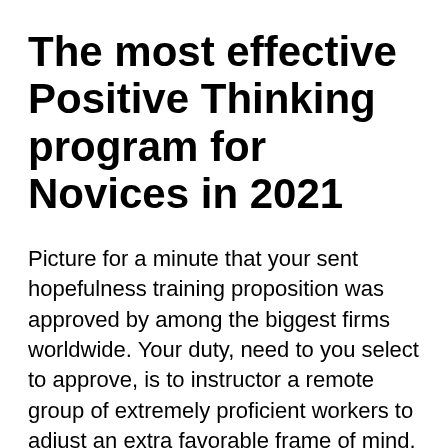The most effective Positive Thinking program for Novices in 2021
Picture for a minute that your sent hopefulness training proposition was approved by among the biggest firms worldwide. Your duty, need to you select to approve, is to instructor a remote group of extremely proficient workers to adjust an extra favorable frame of mind. This is the possibility you have actually been waiting on! The issue is, they desire you to begin tomorrow.